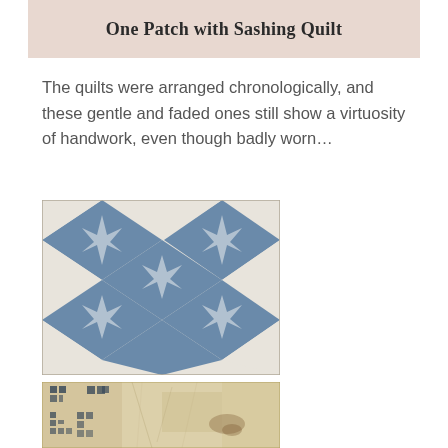One Patch with Sashing Quilt
The quilts were arranged chronologically, and these gentle and faded ones still show a virtuosity of handwork, even though badly worn…
[Figure (photo): Close-up photograph of a blue and white quilt with a diamond/checkered pattern and star motifs, showing intricate handwork]
[Figure (photo): Close-up photograph of a worn, faded beige/cream quilt with small dark blue square patch pattern, showing age and wear]